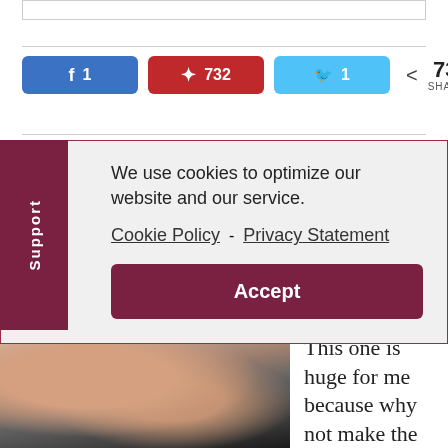[Figure (infographic): Social share buttons showing Facebook (1), Pinterest (732), Twitter (1), and total 734 SHARES]
We use cookies to optimize our website and our service. Cookie Policy - Privacy Statement
Accept
[Figure (photo): Woman in profile view wearing hoop earring and black clothing, with braided hair updo]
This one is huge for me because why not make the best of your